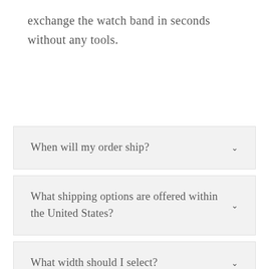exchange the watch band in seconds without any tools.
When will my order ship?
What shipping options are offered within the United States?
What width should I select?